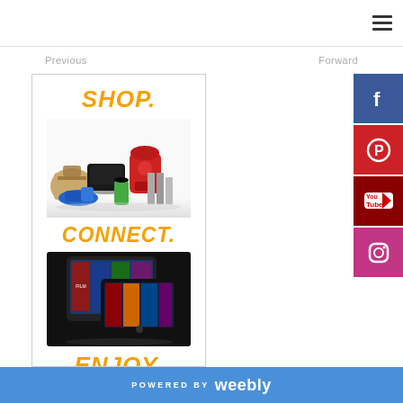Previous | Forward
[Figure (illustration): Advertisement banner with 'SHOP.' in orange bold text, product images (handbag, gaming console, kitchen mixer, shoes, books), 'CONNECT.' in orange bold text with tablet devices, and 'ENJOY.' in orange bold text at bottom]
[Figure (logo): Facebook social media button - blue square with white F icon]
[Figure (logo): Pinterest social media button - red square with white P icon]
[Figure (logo): YouTube social media button - dark red square with YouTube logo]
[Figure (logo): Instagram social media button - pink/magenta square with white camera icon]
POWERED BY weebly